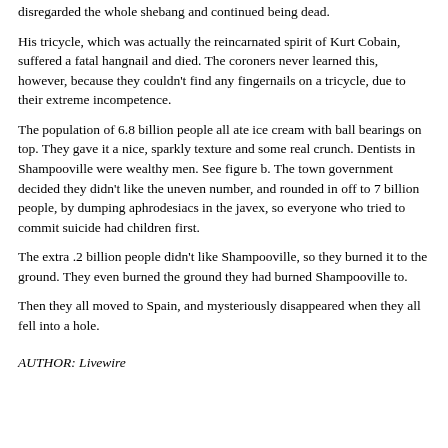disregarded the whole shebang and continued being dead.
His tricycle, which was actually the reincarnated spirit of Kurt Cobain, suffered a fatal hangnail and died. The coroners never learned this, however, because they couldn't find any fingernails on a tricycle, due to their extreme incompetence.
The population of 6.8 billion people all ate ice cream with ball bearings on top. They gave it a nice, sparkly texture and some real crunch. Dentists in Shampooville were wealthy men. See figure b. The town government decided they didn't like the uneven number, and rounded in off to 7 billion people, by dumping aphrodesiacs in the javex, so everyone who tried to commit suicide had children first.
The extra .2 billion people didn't like Shampooville, so they burned it to the ground. They even burned the ground they had burned Shampooville to.
Then they all moved to Spain, and mysteriously disappeared when they all fell into a hole.
AUTHOR: Livewire